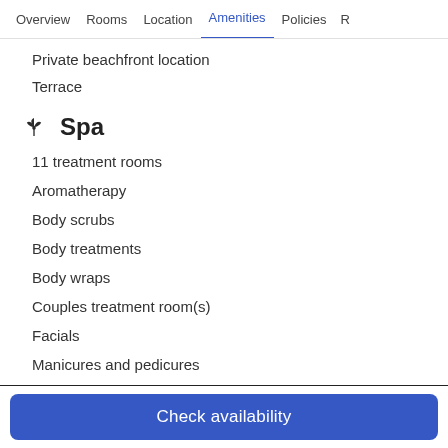Overview | Rooms | Location | Amenities | Policies | R
Private beachfront location
Terrace
Spa
11 treatment rooms
Aromatherapy
Body scrubs
Body treatments
Body wraps
Couples treatment room(s)
Facials
Manicures and pedicures
Massage - deep-tissue
Massage - hot stone
Check availability